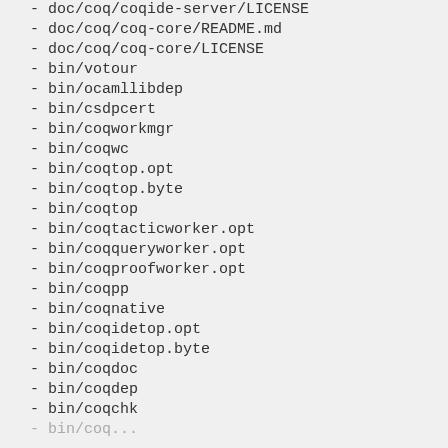- doc/coq/coqide-server/LICENSE
- doc/coq/coq-core/README.md
- doc/coq/coq-core/LICENSE
- bin/votour
- bin/ocamllibdep
- bin/csdpcert
- bin/coqworkmgr
- bin/coqwc
- bin/coqtop.opt
- bin/coqtop.byte
- bin/coqtop
- bin/coqtacticworker.opt
- bin/coqqueryworker.opt
- bin/coqproofworker.opt
- bin/coqpp
- bin/coqnative
- bin/coqidetop.opt
- bin/coqidetop.byte
- bin/coqdoc
- bin/coqdep
- bin/coqchk
- bin/coq...